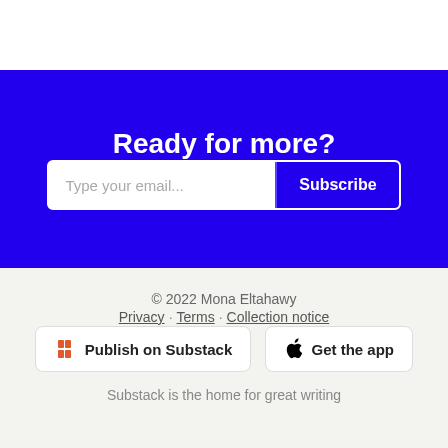Ready for more?
Type your email...
Subscribe
© 2022 Mona Eltahawy
Privacy · Terms · Collection notice
Publish on Substack
Get the app
Substack is the home for great writing